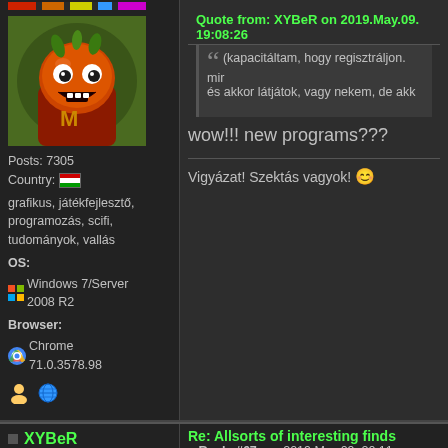[Figure (screenshot): Forum post screenshot showing user profile sidebar with avatar (orange tomato creature), post count 7305, country Hungary, interests, OS Windows 7/Server 2008 R2, browser Chrome 71.0.3578.98, and main post content with quote and text 'wow!!! new programs???' and 'Vigyázat! Szektás vagyok!']
Quote from: XYBeR on 2019.May.09. 19:08:26
(kapacitáltam, hogy regisztráljon. mir és akkor látjátok, vagy nekem, de akk
wow!!! new programs???
Vigyázat! Szektás vagyok! 😊
Posts: 7305
Country: 🇭🇺
grafikus, játékfejlesztő, programozás, scifi, tudományok, vallás
OS: Windows 7/Server 2008 R2
Browser: Chrome 71.0.3578.98
XYBeR
User
Posts: 63
OS:
Re: Allsorts of interesting finds
« Reply #67 on: 2019.May.09. 20:11:
Quote from: endi on 2019.May.09. 20:07:58